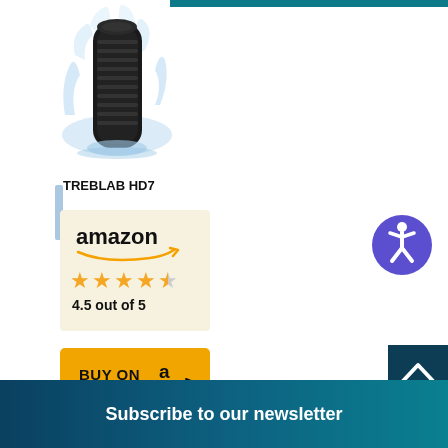[Figure (photo): TREBLAB HD7 Bluetooth speaker with water splash]
TREBLAB HD7
[Figure (other): Amazon logo with orange arrow]
4.5 out of 5
[Figure (other): BUY ON Amazon button in orange]
[Figure (other): Accessibility icon - purple circle with person symbol]
[Figure (other): Scroll to top arrow button - dark teal]
Subscribe to our newsletter